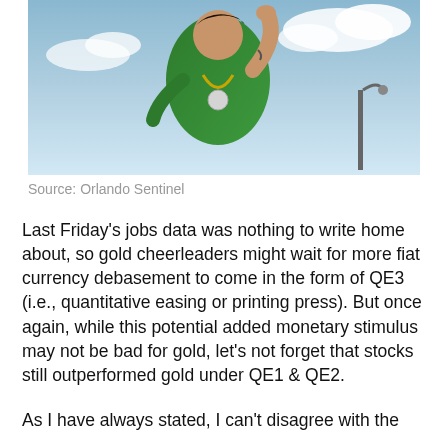[Figure (photo): A man in a green robe with large chains/medallions raises his arm against a blue sky background]
Source: Orlando Sentinel
Last Friday's jobs data was nothing to write home about, so gold cheerleaders might wait for more fiat currency debasement to come in the form of QE3 (i.e., quantitative easing or printing press). But once again, while this potential added monetary stimulus may not be bad for gold, let's not forget that stocks still outperformed gold under QE1 & QE2.
As I have always stated, I can't disagree with the